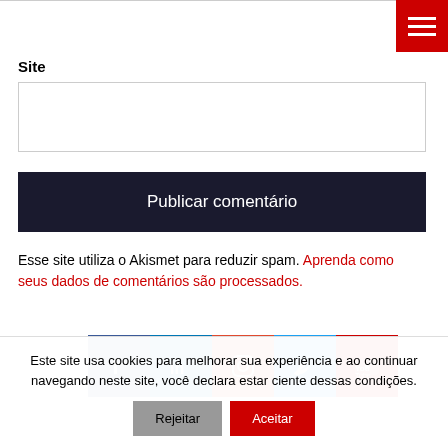[Figure (screenshot): Red hamburger menu button in top-right corner]
Site
[Figure (screenshot): Empty text input box for site URL]
[Figure (screenshot): Dark publish button labeled 'Publicar comentário']
Esse site utiliza o Akismet para reduzir spam. Aprenda como seus dados de comentários são processados.
[Figure (screenshot): Social media icons: Facebook, LinkedIn, Instagram, Twitter, YouTube]
Este site usa cookies para melhorar sua experiência e ao continuar navegando neste site, você declara estar ciente dessas condições. Rejeitar Aceitar